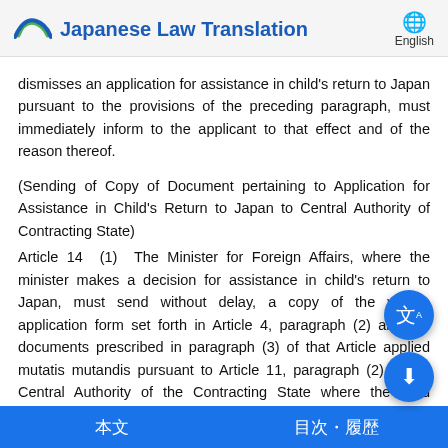Japanese Law Translation | English
dismisses an application for assistance in child's return to Japan pursuant to the provisions of the preceding paragraph, must immediately inform to the applicant to that effect and of the reason thereof.
(Sending of Copy of Document pertaining to Application for Assistance in Child's Return to Japan to Central Authority of Contracting State)
Article 14  (1)  The Minister for Foreign Affairs, where the minister makes a decision for assistance in child's return to Japan, must send without delay, a copy of the written application form set forth in Article 4, paragraph (2) and the documents prescribed in paragraph (3) of that Article applied mutatis mutandis pursuant to Article 11, paragraph (2) to the Central Authority of the Contracting State where the child pertaining to the application is located.
(2)  The Minister for Foreign Affairs, when the minister sends the documents pursuant to the provisions of the preceding
本文　　目次・履歴